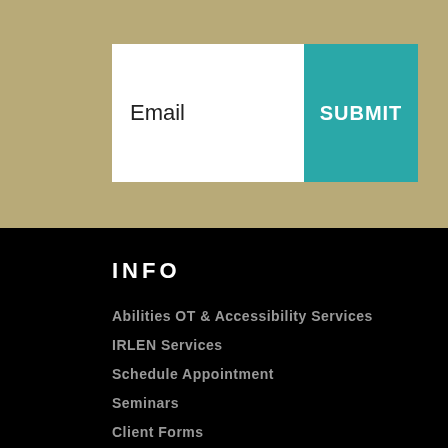Email
SUBMIT
INFO
Abilities OT & Accessibility Services
IRLEN Services
Schedule Appointment
Seminars
Client Forms
FAQs